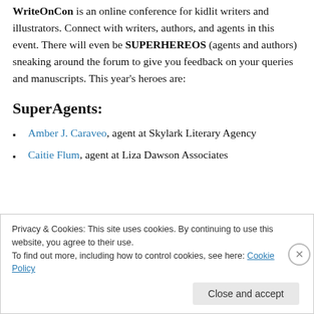WriteOnCon is an online conference for kidlit writers and illustrators. Connect with writers, authors, and agents in this event. There will even be SUPERHEREOS (agents and authors) sneaking around the forum to give you feedback on your queries and manuscripts. This year's heroes are:
SuperAgents:
Amber J. Caraveo, agent at Skylark Literary Agency
Caitie Flum, agent at Liza Dawson Associates
Privacy & Cookies: This site uses cookies. By continuing to use this website, you agree to their use. To find out more, including how to control cookies, see here: Cookie Policy